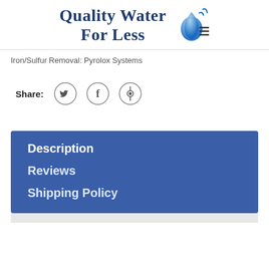[Figure (logo): Quality Water For Less logo with water drop icon and menu lines]
Iron/Sulfur Removal: Pyrolox Systems
Share:
[Figure (illustration): Social sharing buttons: Twitter (bird icon), Facebook (f icon), Pinterest (p icon) — each in a circle]
Description
Reviews
Shipping Policy